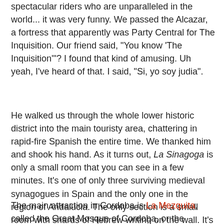spectacular riders who are unparalleled in the world... it was very funny. We passed the Alcazar, a fortress that apparently was Party Central for The Inquisition. Our friend said, "You know 'The Inquisition'"? I found that kind of amusing. Uh yeah, I've heard of that. I said, "Si, yo soy judia".
He walked us through the whole lower historic district into the main touristy area, chattering in rapid-fire Spanish the entire time. We thanked him and shook his hand. As it turns out, La Sinagoga is only a small room that you can see in a few minutes. It's one of only three surviving medieval synagogues in Spain and the only one in the region of Andalucia. The only section is a small room with shards of Hebrew writing on the wall. It's near the Plaza de Maimonides, named for the famous Jewish scholar who was born in Cordoba in 1135. When Cordoba was under Islamic rule, there was a thriving Jewish community, but the Catholics put an end to that.
The main attraction in Cordoba is La Mezquita, called the Great Mosque of Cordoba, or the Cathedral of Cordoba, or the Mosque-Cathedral of Cordoba. Tellingly, all the tourist information...